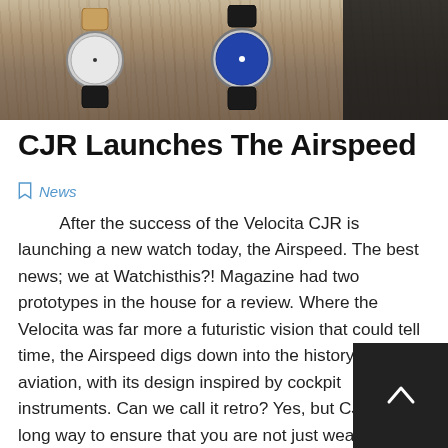[Figure (photo): Photo of two watches on a wooden table surface, with a dark/black object visible on the right side]
CJR Launches The Airspeed
News
After the success of the Velocita CJR is launching a new watch today, the Airspeed. The best news; we at Watchisthis?! Magazine had two prototypes in the house for a review. Where the Velocita was far more a futuristic vision that could tell time, the Airspeed digs down into the history of aviation, with its design inspired by cockpit instruments. Can we call it retro? Yes, but CJR went a long way to ensure that you are not just wearing a replica of an old aircraft clock around your wrist, but try to keep it as original as possible. First of all, the Airspeed is actually a